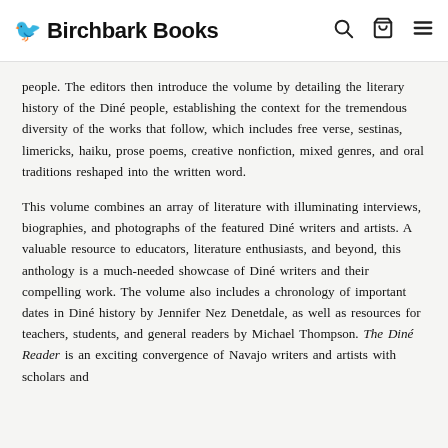Birchbark Books
people. The editors then introduce the volume by detailing the literary history of the Diné people, establishing the context for the tremendous diversity of the works that follow, which includes free verse, sestinas, limericks, haiku, prose poems, creative nonfiction, mixed genres, and oral traditions reshaped into the written word.
This volume combines an array of literature with illuminating interviews, biographies, and photographs of the featured Diné writers and artists. A valuable resource to educators, literature enthusiasts, and beyond, this anthology is a much-needed showcase of Diné writers and their compelling work. The volume also includes a chronology of important dates in Diné history by Jennifer Nez Denetdale, as well as resources for teachers, students, and general readers by Michael Thompson. The Diné Reader is an exciting convergence of Navajo writers and artists with scholars and